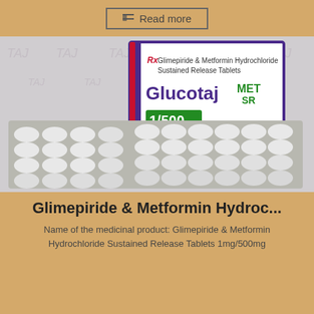Read more
[Figure (photo): Product photo of Glucotaj MET SR tablet blister pack by Taj Pharma. Box shows 'Glimepiride & Metformin Hydrochloride Sustained Release Tablets', brand name Glucotaj MET SR, strength 1/500, 10x15 oral tablets. Blister strips with white oval tablets visible in front.]
Glimepiride & Metformin Hydroc...
Name of the medicinal product: Glimepiride & Metformin Hydrochloride Sustained Release Tablets 1mg/500mg